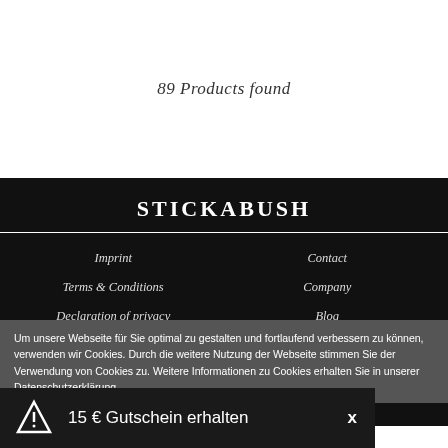89 Products found
STICKABUSH
Imprint
Terms & Conditions
Declaration of privacy
Revocation
Contact
Company
Blog
Shipping & delivery costs
Um unsere Webseite für Sie optimal zu gestalten und fortlaufend verbessern zu können, verwenden wir Cookies. Durch die weitere Nutzung der Webseite stimmen Sie der Verwendung von Cookies zu. Weitere Informationen zu Cookies erhalten Sie in unserer Datenschutzerklärung.
15 € Gutschein erhalten